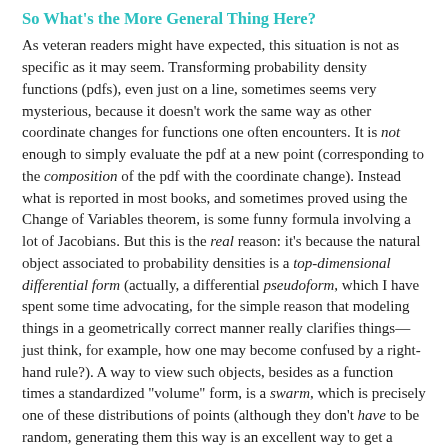So What's the More General Thing Here?
As veteran readers might have expected, this situation is not as specific as it may seem. Transforming probability density functions (pdfs), even just on a line, sometimes seems very mysterious, because it doesn't work the same way as other coordinate changes for functions one often encounters. It is not enough to simply evaluate the pdf at a new point (corresponding to the composition of the pdf with the coordinate change). Instead what is reported in most books, and sometimes proved using the Change of Variables theorem, is some funny formula involving a lot of Jacobians. But this is the real reason: it's because the natural object associated to probability densities is a top-dimensional differential form (actually, a differential pseudoform, which I have spent some time advocating, for the simple reason that modeling things in a geometrically correct manner really clarifies things—just think, for example, how one may become confused by a right-hand rule?). A way to view such objects, besides as a function times a standardized "volume" form, is a swarm, which is precisely one of these distributions of points (although they don't have to be random, generating them this way is an excellent way to get a handle on it).